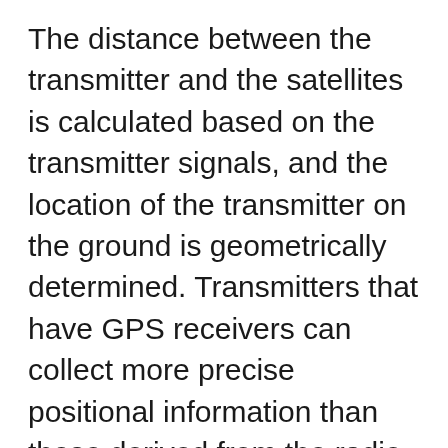The distance between the transmitter and the satellites is calculated based on the transmitter signals, and the location of the transmitter on the ground is geometrically determined. Transmitters that have GPS receivers can collect more precise positional information than those derived from the radio frequencies alone. Transmitters can be equipped with additional sensors that measure depth, temperature, and light. Successful transmissions are relayed from the satellites to receiving stations on the ground where the data are processed and then provided daily to researchers via the internet. Researchers typically receive